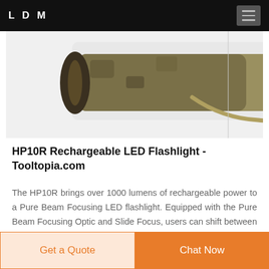LDM
[Figure (photo): HP10R Rechargeable LED Flashlight product photo shown from above against a light grey background, with a strap visible and a vertical divider line on the right side of the image area.]
HP10R Rechargeable LED Flashlight - Tooltopia.com
The HP10R brings over 1000 lumens of rechargeable power to a Pure Beam Focusing LED flashlight. Equipped with the Pure Beam Focusing Optic and Slide Focus, users can shift between a super wide flood beam or spot mode with transition halo at varying distances and brightness all